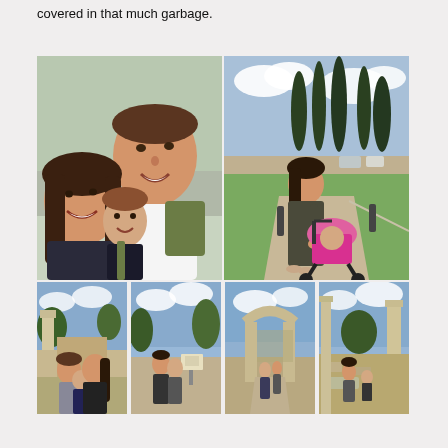covered in that much garbage.
[Figure (photo): Photo collage of a family at an outdoor archaeological site (likely ancient Olympia, Greece). Top-left: selfie of a smiling man and woman with a young child in a carrier, outdoors with trees and a road in background. Top-right: woman pushing a pink stroller along a stone path with tall cypress trees and parked cars in background. Bottom row (4 small photos): family portrait in front of ancient columns, people walking near ruins with an informational sign, child and adult walking through a stone archway at ruins, adult and child near ancient columns and ruins.]